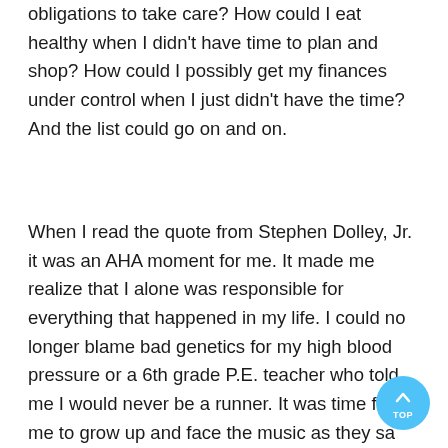obligations to take care? How could I eat healthy when I didn't have time to plan and shop? How could I possibly get my finances under control when I just didn't have the time? And the list could go on and on.
When I read the quote from Stephen Dolley, Jr. it was an AHA moment for me. It made me realize that I alone was responsible for everything that happened in my life. I could no longer blame bad genetics for my high blood pressure or a 6th grade P.E. teacher who told me I would never be a runner. It was time for me to grow up and face the music as they sa